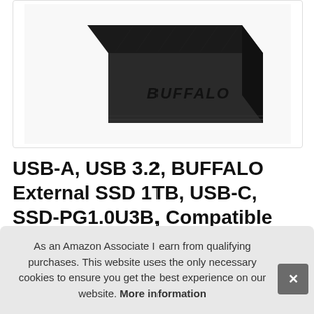[Figure (photo): Black Buffalo external SSD drive photographed at an angle showing the top surface with embossed BUFFALO logo text]
USB-A, USB 3.2, BUFFALO External SSD 1TB, USB-C, SSD-PG1.0U3B, Compatible with PS4 / PS5 / Wi... Dr...
As an Amazon Associate I earn from qualifying purchases. This website uses the only necessary cookies to ensure you get the best experience on our website. More information